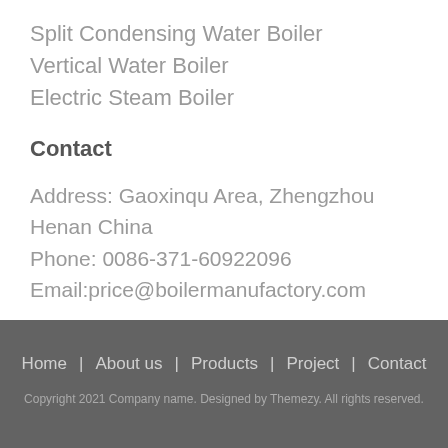Split Condensing Water Boiler
Vertical Water Boiler
Electric Steam Boiler
Contact
Address: Gaoxinqu Area, Zhengzhou Henan China
Phone: 0086-371-60922096
Email:price@boilermanufactory.com
Home | About us | Products | Project | Contact
Copyright 2021 Company name. Designed by Themezy. All rights reserved.